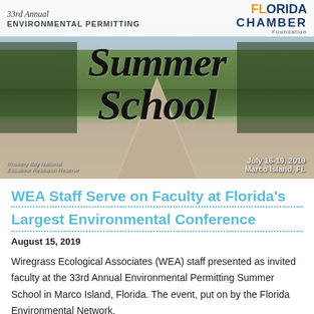[Figure (photo): Hero banner image showing a wooden boardwalk stretching into a marsh/wetland landscape under a cloudy sky. Overlaid with text '33rd Annual Environmental Permitting Summer School', 'July 16-19, 2019, Marco Island, FL', and the Florida Chamber Foundation logo. A photo credit reads 'Rookery Bay National Estuarine Research Reserve'.]
WEA Staff Serve on Faculty at Florida's Largest Environmental Conference
August 15, 2019
Wiregrass Ecological Associates (WEA) staff presented as invited faculty at the 33rd Annual Environmental Permitting Summer School in Marco Island, Florida. The event, put on by the Florida Environmental Network,